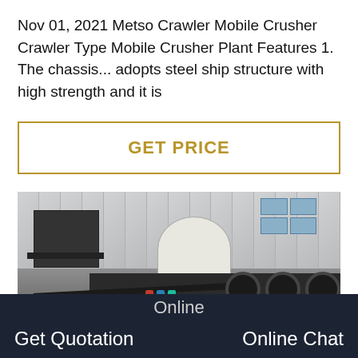Nov 01, 2021 Metso Crawler Mobile Crusher Crawler Type Mobile Crusher Plant Features 1. The chassis... adopts steel ship structure with high strength and it is
[Figure (other): Button with gold border and text GET PRICE]
[Figure (photo): Photo of a large crawler-type mobile crusher plant with heavy machinery, a dome-shaped crusher in the center, a conveyor belt, large truck wheels, and an industrial building in the background.]
Online
Get Quotation
Online Chat